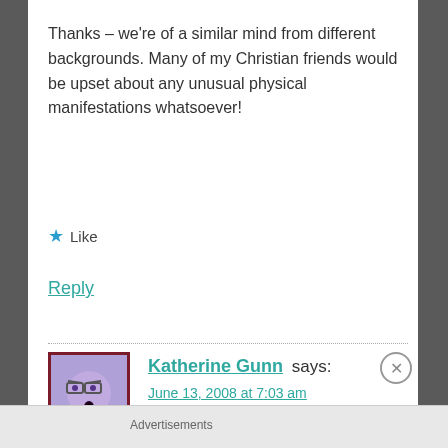Thanks – we're of a similar mind from different backgrounds. Many of my Christian friends would be upset about any unusual physical manifestations whatsoever!
★ Like
Reply
Katherine Gunn says:
June 13, 2008 at 7:03 am
Advertisements